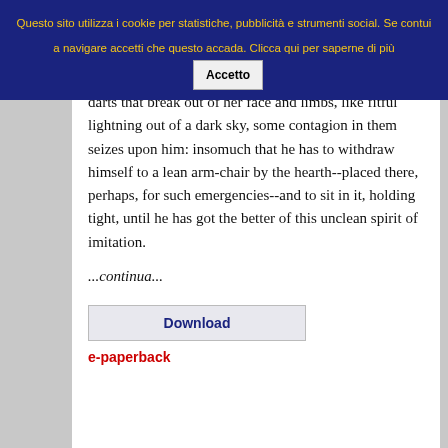Questo sito utilizza i cookie per statistiche, pubblicità e strumenti social. Se contui a navigare accetti che questo accada. Clicca qui per saperne di più  Accetto
darts that break out of her face and limbs, like fitful lightning out of a dark sky, some contagion in them seizes upon him: insomuch that he has to withdraw himself to a lean arm-chair by the hearth--placed there, perhaps, for such emergencies--and to sit in it, holding tight, until he has got the better of this unclean spirit of imitation.
...continua...
Download
e-paperback